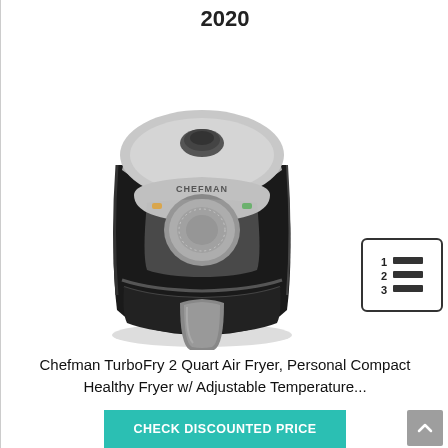2020
[Figure (photo): Chefman TurboFry 2 Quart Air Fryer product photo. Black compact air fryer with silver/gray trim, rotary timer dial, power and temperature indicator lights, and gray pull handle at the bottom front.]
[Figure (infographic): Numbered list icon (1, 2, 3 with horizontal lines) inside a rounded rectangle border]
Chefman TurboFry 2 Quart Air Fryer, Personal Compact Healthy Fryer w/ Adjustable Temperature...
CHECK DISCOUNTED PRICE